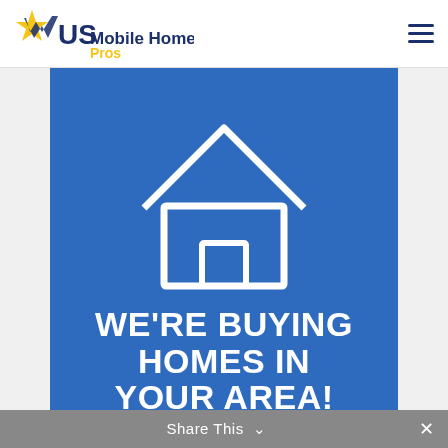[Figure (logo): US Mobile Home Pros logo with star and chevron icon, dark blue and gold/yellow text]
[Figure (infographic): Blue banner with white outlined house icon and bold white text reading WE'RE BUYING HOMES IN YOUR AREA!]
Share This ∨
✕